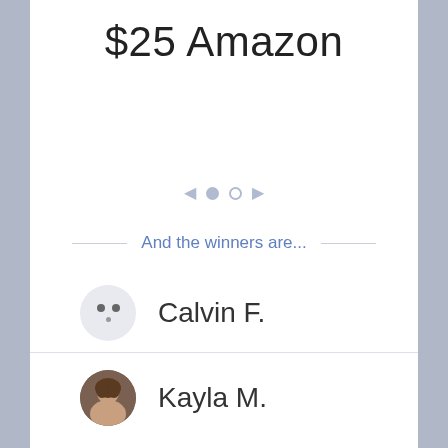$25 Amazon
[Figure (infographic): Carousel navigation with left arrow, filled dot, empty dot, right arrow]
And the winners are...
Calvin F.
Kayla M.